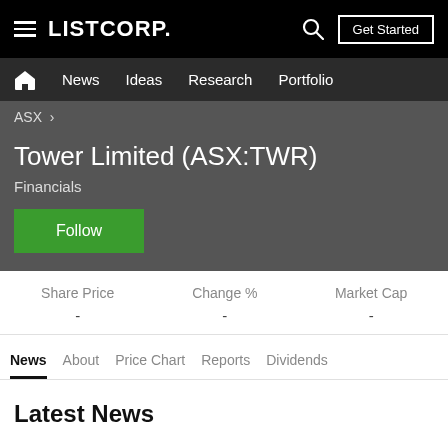LISTCORP.
News  Ideas  Research  Portfolio
ASX >
Tower Limited (ASX:TWR)
Financials
Follow
| Share Price | Change % | Market Cap |
| --- | --- | --- |
| - | - | - |
News  About  Price Chart  Reports  Dividends
Latest News